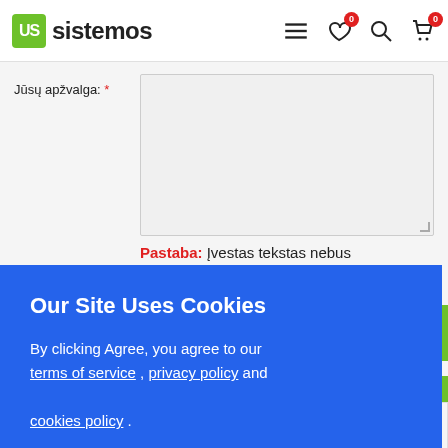US sistemos
Jūsų apžvalga: *
Pastaba: Įvestas tekstas nebus
ras
[Figure (screenshot): Cookie consent overlay on e-commerce website sistemos.lt. Blue overlay box with title 'Our Site Uses Cookies', body text 'By clicking Agree, you agree to our terms of service, privacy policy and cookies policy.', and two buttons: 'Opt Out' and 'Allow cookies'.]